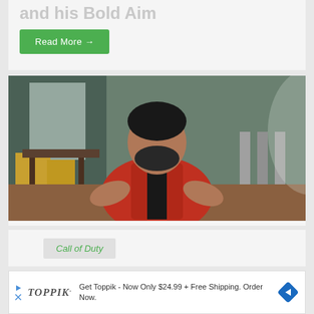and his Bold Aim
Read More →
[Figure (photo): Man in red jacket sitting in a room with yellow chairs, gesturing with both hands open, smiling at camera]
Call of Duty
[Figure (infographic): Toppik advertisement: logo on left, text 'Get Toppik - Now Only $24.99 + Free Shipping. Order Now.' with blue diamond navigation icon on right]